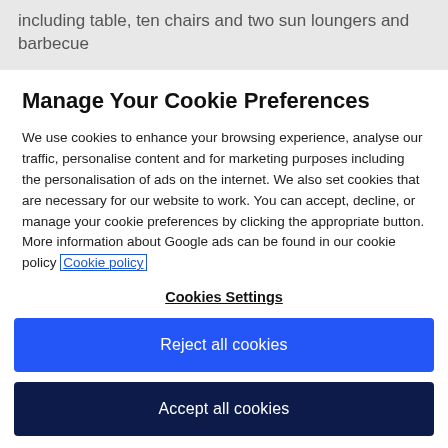including table, ten chairs and two sun loungers and barbecue
Manage Your Cookie Preferences
We use cookies to enhance your browsing experience, analyse our traffic, personalise content and for marketing purposes including the personalisation of ads on the internet. We also set cookies that are necessary for our website to work. You can accept, decline, or manage your cookie preferences by clicking the appropriate button. More information about Google ads can be found in our cookie policy Cookie policy
Cookies Settings
Reject all cookies
Accept all cookies